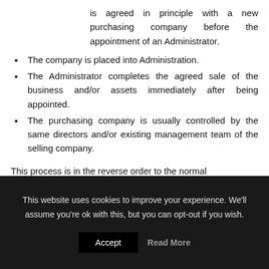is agreed in principle with a new purchasing company before the appointment of an Administrator.
The company is placed into Administration.
The Administrator completes the agreed sale of the business and/or assets immediately after being appointed.
The purchasing company is usually controlled by the same directors and/or existing management team of the selling company.
This process is in the reverse order to the normal
This website uses cookies to improve your experience. We'll assume you're ok with this, but you can opt-out if you wish.